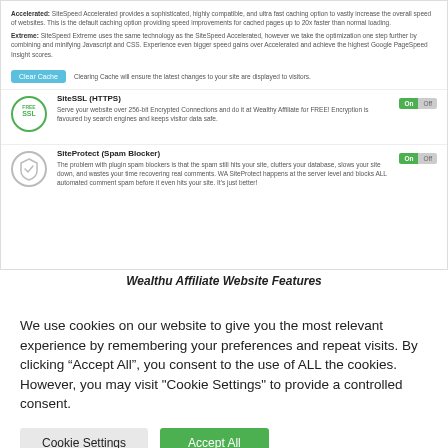[Figure (screenshot): Screenshot of Wealthy Affiliate website settings panel showing SiteSpeed caching options with Accelerated and Extreme descriptions, a Clear Cache button, SiteSSL (HTTPS) toggle set to On, and SiteProtect (Spam Blocker) toggle set to On.]
Wealthu Affiliate Website Features
We use cookies on our website to give you the most relevant experience by remembering your preferences and repeat visits. By clicking “Accept All”, you consent to the use of ALL the cookies. However, you may visit "Cookie Settings" to provide a controlled consent.
Cookie Settings  Accept All